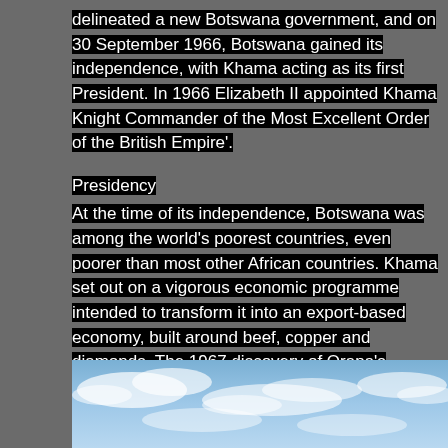delineated a new Botswana government, and on 30 September 1966, Botswana gained its independence, with Khama acting as its first President. In 1966 Elizabeth II appointed Khama Knight Commander of the Most Excellent Order of the British Empire'.
Presidency
At the time of its independence, Botswana was among the world's poorest countries, even poorer than most other African countries. Khama set out on a vigorous economic programme intended to transform it into an export-based economy, built around beef, copper and diamonds. The 1967 discovery of Orapa's diamond deposits aided this programme. However, other African countries have had abundant resources and still proved poor.
[Figure (photo): Sky with clouds, blue sky visible through wispy white clouds]